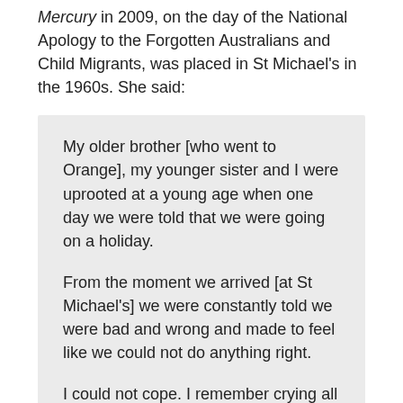Mercury in 2009, on the day of the National Apology to the Forgotten Australians and Child Migrants, was placed in St Michael's in the 1960s. She said:
My older brother [who went to Orange], my younger sister and I were uprooted at a young age when one day we were told that we were going on a holiday.

From the moment we arrived [at St Michael's] we were constantly told we were bad and wrong and made to feel like we could not do anything right.

I could not cope. I remember crying all the time and that saw me get the cane a lot.
St Michael's Church of England War Memorial Children's Homes were intended as a memorial to prisoners of war who died in Asia under the Japanese and Korean